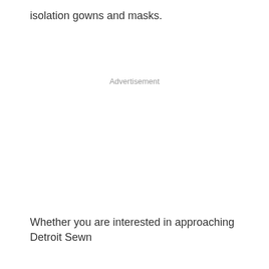isolation gowns and masks.
Advertisement
Whether you are interested in approaching Detroit Sewn